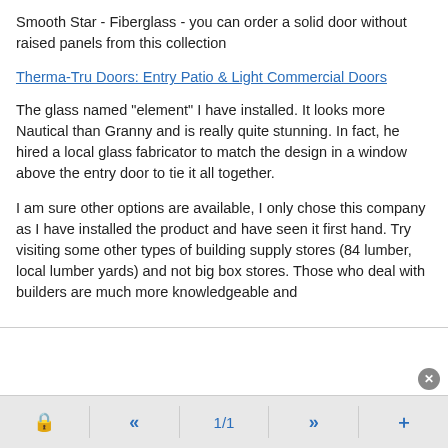Smooth Star - Fiberglass - you can order a solid door without raised panels from this collection
Therma-Tru Doors: Entry Patio & Light Commercial Doors
The glass named "element" I have installed. It looks more Nautical than Granny and is really quite stunning. In fact, he hired a local glass fabricator to match the design in a window above the entry door to tie it all together.
I am sure other options are available, I only chose this company as I have installed the product and have seen it first hand. Try visiting some other types of building supply stores (84 lumber, local lumber yards) and not big box stores. Those who deal with builders are much more knowledgeable and
1/1